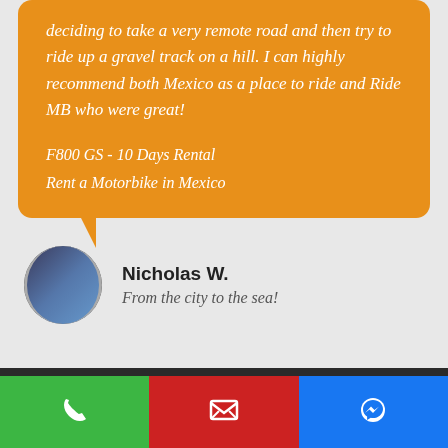deciding to take a very remote road and then try to ride up a gravel track on a hill. I can highly recommend both Mexico as a place to ride and Ride MB who were great!
F800 GS - 10 Days Rental
Rent a Motorbike in Mexico
Nicholas W.
From the city to the sea!
Need help?
[Figure (illustration): Orange circle with white question mark icon]
[Figure (illustration): Green button with white phone icon, red button with white envelope icon, blue button with white messenger icon]